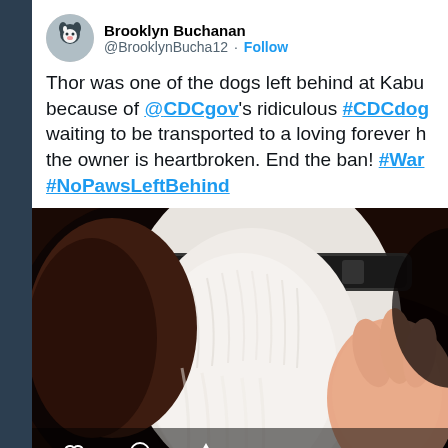[Figure (screenshot): Twitter/X screenshot of a tweet by Brooklyn Buchanan (@BrooklynBucha12) with text about a dog named Thor left behind at Kabul because of @CDCgov's ridiculous #CDCdog ban, waiting to be transported to a loving forever home, the owner is heartbroken. End the ban! #War... #NoPawsLeftBehind. Below the text is a photo of a close-up of a black and white dog's face/neck area with a collar.]
Thor was one of the dogs left behind at Kabul because of @CDCgov's ridiculous #CDCdog... waiting to be transported to a loving forever h... the owner is heartbroken. End the ban! #War #NoPawsLeftBehind